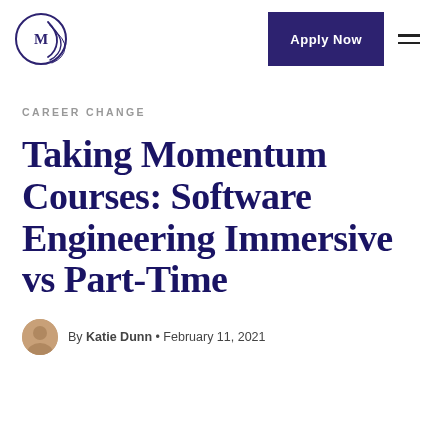[Figure (logo): Momentum Learning logo — circular icon with letter M and spiral lines]
Apply Now
CAREER CHANGE
Taking Momentum Courses: Software Engineering Immersive vs Part-Time
By Katie Dunn • February 11, 2021